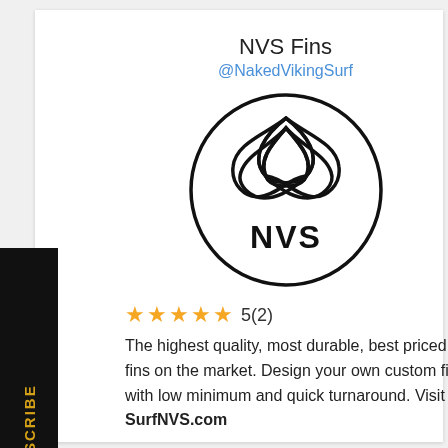NVS Fins
@NakedVikingSurf
[Figure (logo): NVS circular logo with triquetra symbol and NVS text]
5(2)
The highest quality, most durable, best priced fins on the market. Design your own custom fins with low minimum and quick turnaround. Visit SurfNVS.com
RATE THIS EPISODE
Let others know what you thought of this episode